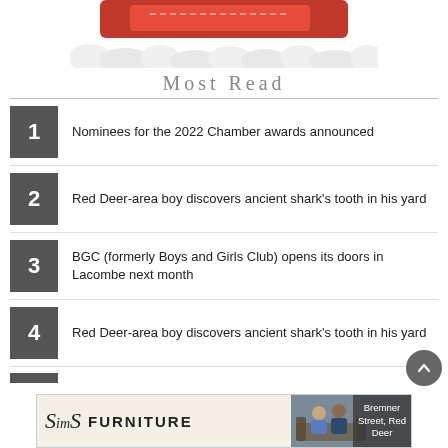[Figure (illustration): Partial view of a Christmas-themed illustration showing a red sleigh with white cloud/snow decoration at the bottom, on a white background.]
Most Read
1 Nominees for the 2022 Chamber awards announced
2 Red Deer-area boy discovers ancient shark's tooth in his yard
3 BGC (formerly Boys and Girls Club) opens its doors in Lacombe next month
4 Red Deer-area boy discovers ancient shark's tooth in his yard
[Figure (photo): Partial view of a news list item number 5, text cut off at bottom of page.]
[Figure (illustration): Advertisement banner for Sims Furniture with logo on left, two men on a couch in the center-right, and address text 'Bremner Street, Red Deer' on the right.]